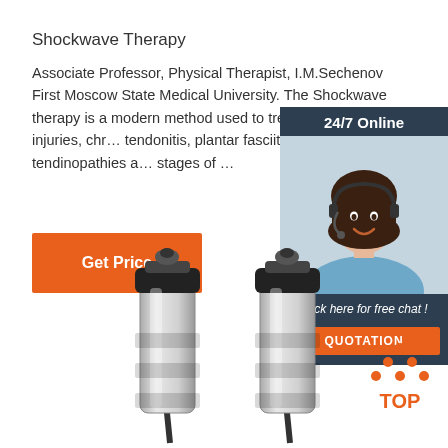Shockwave Therapy
Associate Professor, Physical Therapist, I.M.Sechenov First Moscow State Medical University. The Shockwave therapy is a modern method used to treat shoulder injuries, chr… tendonitis, plantar fasciitis, elbow tendinopathies a… stages of …
Get Price
[Figure (screenshot): 24/7 Online chat widget showing a female customer service representative wearing a headset, with text 'Click here for free chat!' and a QUOTATION button]
[Figure (photo): Two shockwave therapy device applicator heads/probes shown side by side, silver and black cylindrical devices]
[Figure (infographic): TOP icon with orange dots arranged in triangle above the word TOP in orange]